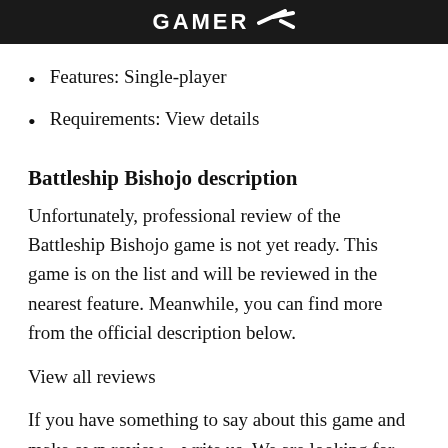GAMER
Features: Single-player
Requirements: View details
Battleship Bishojo description
Unfortunately, professional review of the Battleship Bishojo game is not yet ready. This game is on the list and will be reviewed in the nearest feature. Meanwhile, you can find more from the official description below.
View all reviews
If you have something to say about this game and make own review – write us. We are looking for